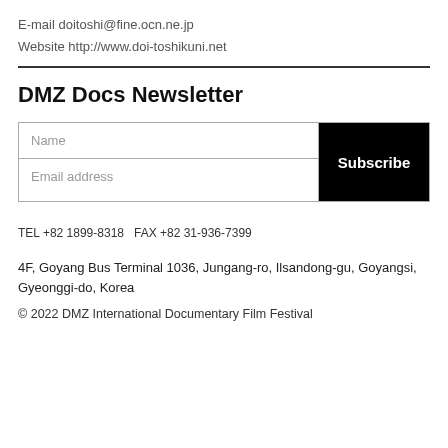E-mail doitoshi@fine.ocn.ne.jp
Website http://www.doi-toshikuni.net
DMZ Docs Newsletter
[Figure (other): Newsletter subscription form with Name and Email address fields and a Subscribe button]
TEL +82 1899-8318    FAX +82 31-936-7399
4F, Goyang Bus Terminal 1036, Jungang-ro, Ilsandong-gu, Goyangsi, Gyeonggi-do, Korea
© 2022 DMZ International Documentary Film Festival